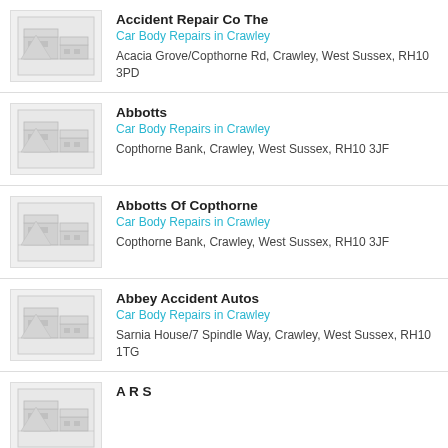Accident Repair Co The | Car Body Repairs in Crawley | Acacia Grove/Copthorne Rd, Crawley, West Sussex, RH10 3PD
Abbotts | Car Body Repairs in Crawley | Copthorne Bank, Crawley, West Sussex, RH10 3JF
Abbotts Of Copthorne | Car Body Repairs in Crawley | Copthorne Bank, Crawley, West Sussex, RH10 3JF
Abbey Accident Autos | Car Body Repairs in Crawley | Sarnia House/7 Spindle Way, Crawley, West Sussex, RH10 1TG
A R S